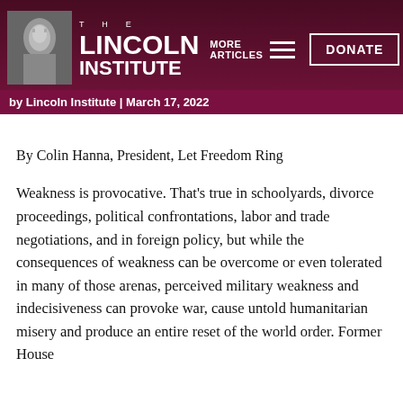[Figure (logo): The Lincoln Institute logo with Abraham Lincoln portrait and text 'THE LINCOLN INSTITUTE']
MORE ARTICLES | DONATE
by Lincoln Institute | March 17, 2022
By Colin Hanna, President, Let Freedom Ring
Weakness is provocative. That's true in schoolyards, divorce proceedings, political confrontations, labor and trade negotiations, and in foreign policy, but while the consequences of weakness can be overcome or even tolerated in many of those arenas, perceived military weakness and indecisiveness can provoke war, cause untold humanitarian misery and produce an entire reset of the world order. Former House